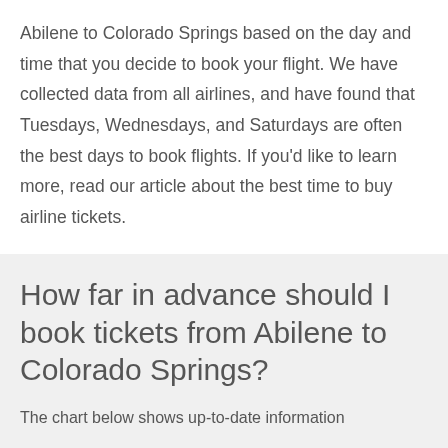Abilene to Colorado Springs based on the day and time that you decide to book your flight. We have collected data from all airlines, and have found that Tuesdays, Wednesdays, and Saturdays are often the best days to book flights. If you'd like to learn more, read our article about the best time to buy airline tickets.
How far in advance should I book tickets from Abilene to Colorado Springs?
The chart below shows up-to-date information